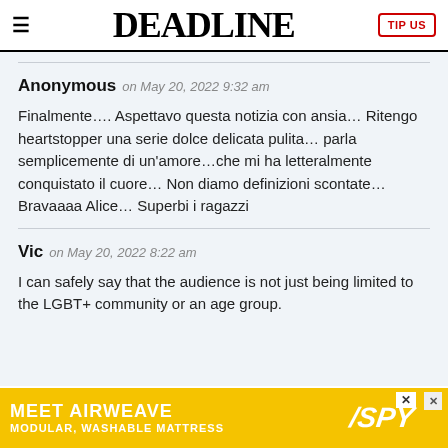DEADLINE
Anonymous on May 20, 2022 9:32 am
Finalmente…. Aspettavo questa notizia con ansia… Ritengo heartstopper una serie dolce delicata pulita… parla semplicemente di un'amore…che mi ha letteralmente conquistato il cuore… Non diamo definizioni scontate… Bravaaaa Alice… Superbi i ragazzi
Vic on May 20, 2022 8:22 am
I can safely say that the audience is not just being limited to the LGBT+ community or an age group.
[Figure (other): Advertisement banner for Airweave: MEET AIRWEAVE - MODULAR, WASHABLE MATTRESS with SPY logo on yellow background]